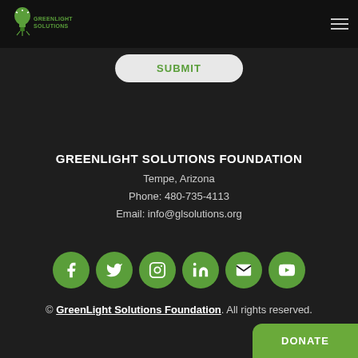[Figure (logo): GreenLight Solutions logo with a green lightbulb icon and text 'GreenLight Solutions']
SUBMIT
GREENLIGHT SOLUTIONS FOUNDATION
Tempe, Arizona
Phone: 480-735-4113
Email: info@glsolutions.org
[Figure (infographic): Row of six green circular social media icons: Facebook, Twitter, Instagram, LinkedIn, Email, YouTube]
© GreenLight Solutions Foundation. All rights reserved.
DONATE